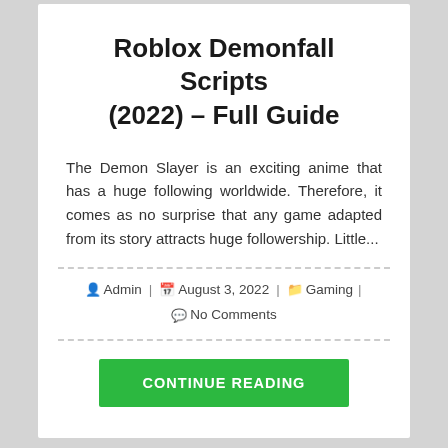Roblox Demonfall Scripts (2022) – Full Guide
The Demon Slayer is an exciting anime that has a huge following worldwide. Therefore, it comes as no surprise that any game adapted from its story attracts huge followership. Little...
Admin | August 3, 2022 | Gaming | No Comments
CONTINUE READING